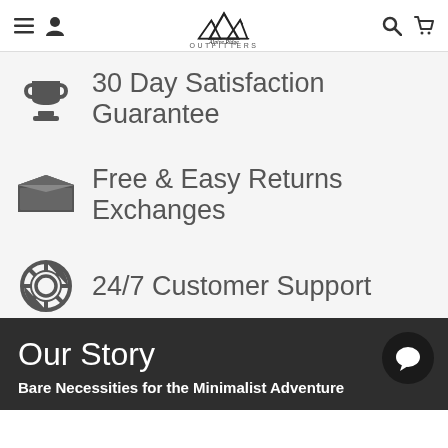Alpine Ridge Outfitters
30 Day Satisfaction Guarantee
Free & Easy Returns Exchanges
24/7 Customer Support
Our Story
Bare Necessities for the Minimalist Adventure